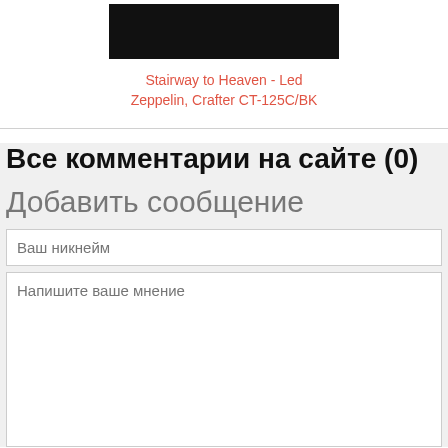[Figure (photo): Dark/black video thumbnail image at the top center of the page]
Stairway to Heaven - Led Zeppelin, Crafter CT-125C/BK
Все комментарии на сайте (0)
Добавить сообщение
Ваш никнейм
Напишите ваше мнение